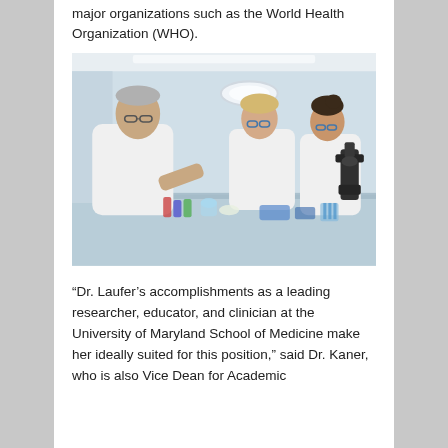major organizations such as the World Health Organization (WHO).
[Figure (photo): Three scientists in white lab coats examining samples at a laboratory bench with microscopes and lab equipment. A man with grey hair and glasses leans over a lab bench while two women with protective eyewear look on.]
“Dr. Laufer’s accomplishments as a leading researcher, educator, and clinician at the University of Maryland School of Medicine make her ideally suited for this position,” said Dr. Kaner, who is also Vice Dean for Academic